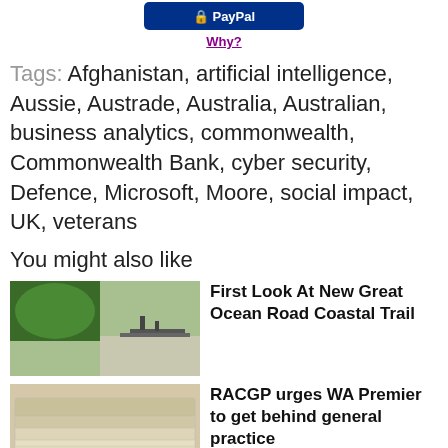[Figure (logo): PayPal button (blue rounded rectangle with PayPal text)]
Why?
Tags: Afghanistan, artificial intelligence, Aussie, Austrade, Australia, Australian, business analytics, commonwealth, Commonwealth Bank, cyber security, Defence, Microsoft, Moore, social impact, UK, veterans
You might also like
[Figure (photo): Thumbnail image showing trees and a coastal/ship silhouette scene]
First Look At New Great Ocean Road Coastal Trail
[Figure (photo): Thumbnail image showing stacked newspapers close-up]
RACGP urges WA Premier to get behind general practice
[Figure (photo): Thumbnail image for Export commodity article]
Export commodity